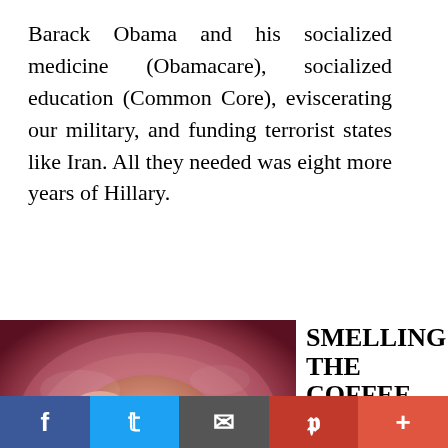Barack Obama and his socialized medicine (Obamacare), socialized education (Common Core), eviscerating our military, and funding terrorist states like Iran. All they needed was eight more years of Hillary.
[Figure (photo): Photograph of a fetus in the womb, curled in fetal position against a pink/red background]
SMELLING THE COFFEE
I happen to live about 18 minutes from New